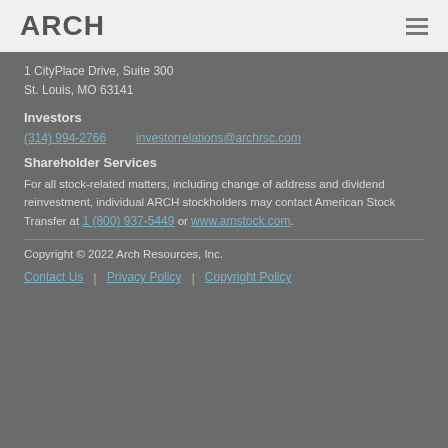ARCH
1 CityPlace Drive, Suite 300
St. Louis, MO 63141
Investors
(314) 994-2766    investorrelations@archrsc.com
Shareholder Services
For all stock-related matters, including change of address and dividend reinvestment, individual ARCH stockholders may contact American Stock Transfer at 1 (800) 937-5449 or www.amstock.com.
Copyright © 2022 Arch Resources, Inc.
Contact Us | Privacy Policy | Copyright Policy